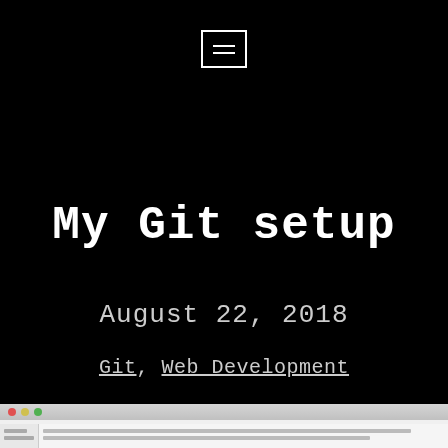[Figure (other): Hamburger menu icon (two horizontal lines inside a rectangle border) centered near the top of the page on a black background]
My Git setup
August 22, 2018
Git, Web Development
[Figure (screenshot): Screenshot of a macOS application window (appears to be an IDE or source control tool like SourceTree/Tower) showing a file tree on the left and a diff/search panel on the right with file paths listed]